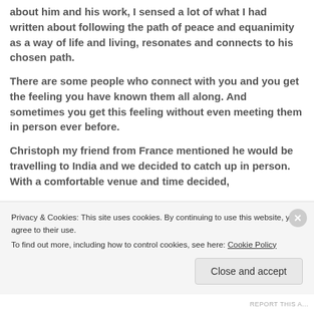about him and his work, I sensed a lot of what I had written about following the path of peace and equanimity as a way of life and living, resonates and connects to his chosen path.
There are some people who connect with you and you get the feeling you have known them all along. And sometimes you get this feeling without even meeting them in person ever before.
Christoph my friend from France mentioned he would be travelling to India and we decided to catch up in person. With a comfortable venue and time decided,
Privacy & Cookies: This site uses cookies. By continuing to use this website, you agree to their use.
To find out more, including how to control cookies, see here: Cookie Policy
Close and accept